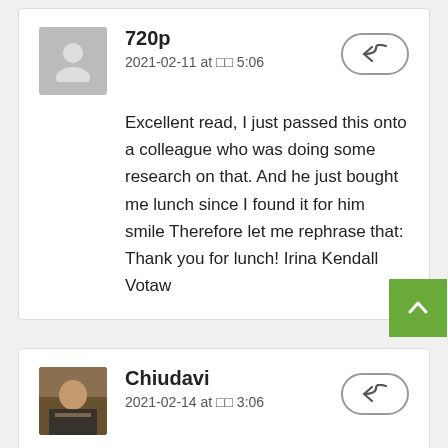720p
2021-02-11 at 5:06
Excellent read, I just passed this onto a colleague who was doing some research on that. And he just bought me lunch since I found it for him smile Therefore let me rephrase that: Thank you for lunch! Irina Kendall Votaw
Chiudavi
2021-02-14 at 3:06